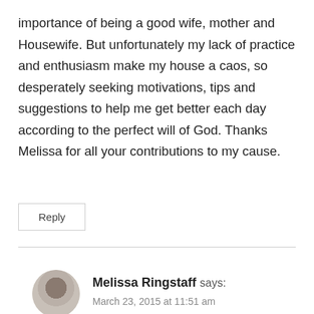importance of being a good wife, mother and Housewife. But unfortunately my lack of practice and enthusiasm make my house a caos, so desperately seeking motivations, tips and suggestions to help me get better each day according to the perfect will of God. Thanks Melissa for all your contributions to my cause.
Reply
Melissa Ringstaff says:
March 23, 2015 at 11:51 am